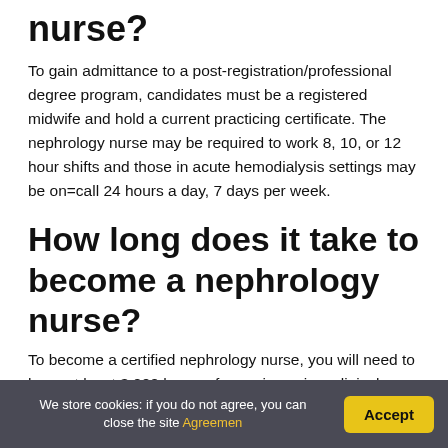nurse?
To gain admittance to a post-registration/professional degree program, candidates must be a registered midwife and hold a current practicing certificate. The nephrology nurse may be required to work 8, 10, or 12 hour shifts and those in acute hemodialysis settings may be on=call 24 hours a day, 7 days per week.
How long does it take to become a nephrology nurse?
To become a certified nephrology nurse, you will need to have at least 3,000 hours of experience in a clinical nephrology
We store cookies: if you do not agree, you can close the site Agreemen   Accept